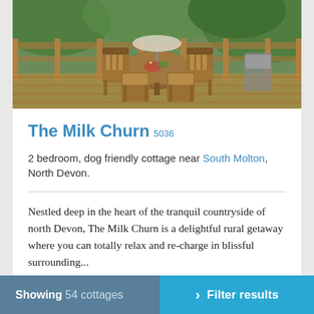[Figure (photo): Outdoor wooden garden furniture set — round table with chairs on a wooden deck, surrounded by greenery and a wooden fence]
The Milk Churn 5036
2 bedroom, dog friendly cottage near South Molton, North Devon.
Nestled deep in the heart of the tranquil countryside of north Devon, The Milk Churn is a delightful rural getaway where you can totally relax and re-charge in blissful surrounding...
Sleeps 4 + cot   Dogs welcome   Changeover Fri
Showing 54 cottages   > Filter results